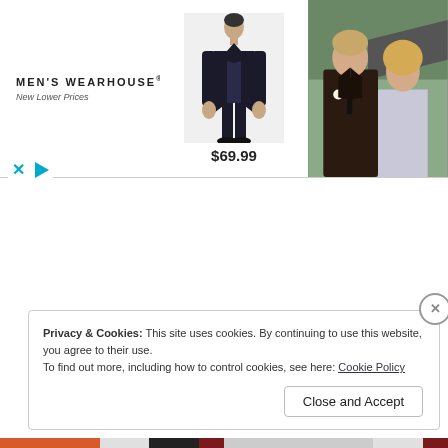[Figure (screenshot): Men's Wearhouse advertisement banner with logo on left, suit product image with $69.99 price in center, and wedding couple photo on right]
[Figure (screenshot): Cookie consent notice popup with 'Privacy & Cookies' text, cookie policy link, and 'Close and Accept' button]